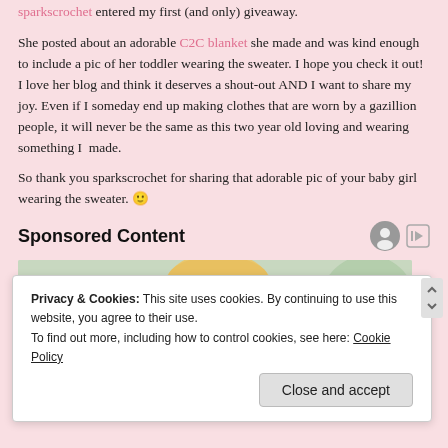sparkscrochet entered my first (and only) giveaway.
She posted about an adorable C2C blanket she made and was kind enough to include a pic of her toddler wearing the sweater. I hope you check it out! I love her blog and think it deserves a shout-out AND I want to share my joy. Even if I someday end up making clothes that are worn by a gazillion people, it will never be the same as this two year old loving and wearing something I  made.
So thank you sparkscrochet for sharing that adorable pic of your baby girl wearing the sweater. 🙂
Sponsored Content
[Figure (photo): Photo of a blonde woman looking down, with green plants in background]
Privacy & Cookies: This site uses cookies. By continuing to use this website, you agree to their use.
To find out more, including how to control cookies, see here: Cookie Policy
Close and accept